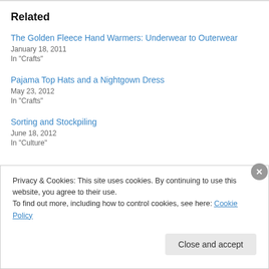Related
The Golden Fleece Hand Warmers: Underwear to Outerwear
January 18, 2011
In "Crafts"
Pajama Top Hats and a Nightgown Dress
May 23, 2012
In "Crafts"
Sorting and Stockpiling
June 18, 2012
In "Culture"
Privacy & Cookies: This site uses cookies. By continuing to use this website, you agree to their use.
To find out more, including how to control cookies, see here: Cookie Policy
Close and accept